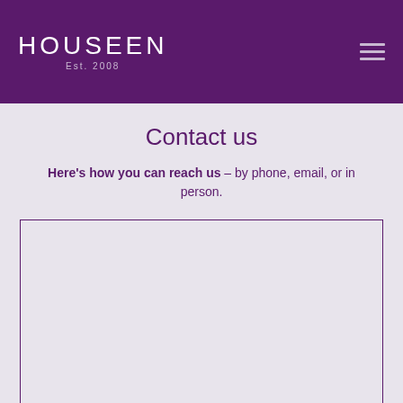HOUSEEN Est. 2008
Contact us
Here's how you can reach us – by phone, email, or in person.
[Figure (map): A bordered rectangular box representing a map or contact form area, shown empty with a purple border on a light gray/lavender background.]